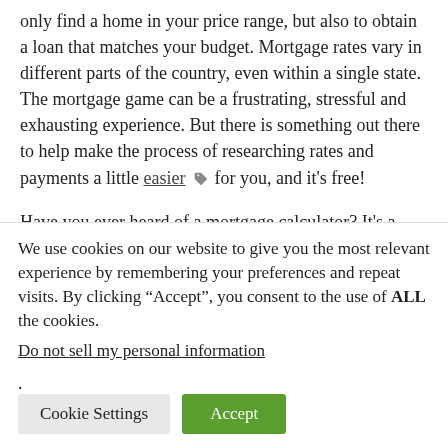only find a home in your price range, but also to obtain a loan that matches your budget. Mortgage rates vary in different parts of the country, even within a single state. The mortgage game can be a frustrating, stressful and exhausting experience. But there is something out there to help make the process of researching rates and payments a little easier 🏷 for you, and it's free!
Have you ever heard of a mortgage calculator? It's a handy, little, online device to give you some assistance in the plight to figuring out what your mortgage payments will be. The mortgage calculator bases its 🏷 estimations on percentage rates, the loan amount you...
We use cookies on our website to give you the most relevant experience by remembering your preferences and repeat visits. By clicking "Accept", you consent to the use of ALL the cookies.
Do not sell my personal information.